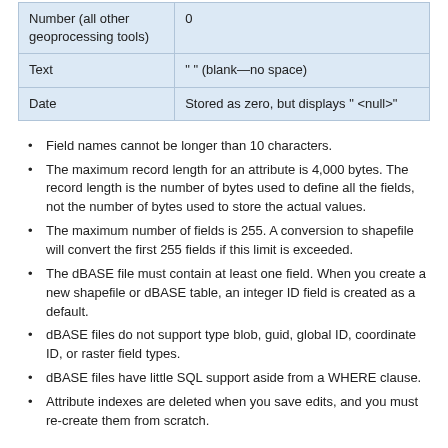|  |  |
| --- | --- |
| Number (all other geoprocessing tools) | 0 |
| Text | " " (blank—no space) |
| Date | Stored as zero, but displays " <null>" |
Field names cannot be longer than 10 characters.
The maximum record length for an attribute is 4,000 bytes. The record length is the number of bytes used to define all the fields, not the number of bytes used to store the actual values.
The maximum number of fields is 255. A conversion to shapefile will convert the first 255 fields if this limit is exceeded.
The dBASE file must contain at least one field. When you create a new shapefile or dBASE table, an integer ID field is created as a default.
dBASE files do not support type blob, guid, global ID, coordinate ID, or raster field types.
dBASE files have little SQL support aside from a WHERE clause.
Attribute indexes are deleted when you save edits, and you must re-create them from scratch.
Unsupported capabilities